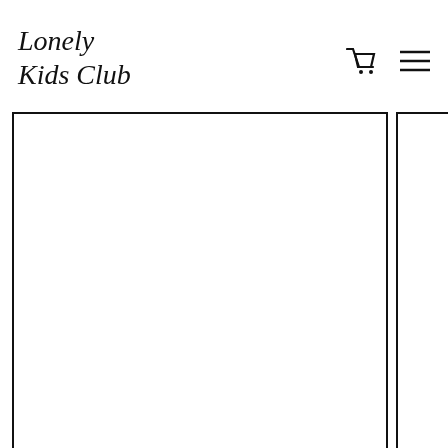Lonely Kids Club
[Figure (screenshot): Product card: BLERH TEE with three color swatches (black, red/white half, peach) and price FROM $40.00]
[Figure (screenshot): Partial product card: STOP T with two color swatches (blue, gray) and price FROM $40.00]
WHAT MAKES US DIFFERENT?
We are a small and completely independent brand that strives